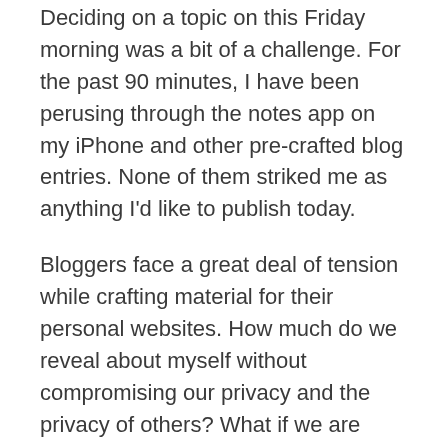Deciding on a topic on this Friday morning was a bit of a challenge. For the past 90 minutes, I have been perusing through the notes app on my iPhone and other pre-crafted blog entries. None of them striked me as anything I'd like to publish today.
Bloggers face a great deal of tension while crafting material for their personal websites. How much do we reveal about myself without compromising our privacy and the privacy of others? What if we are misunderstood? How will others perceive us after they have read our blog?
Don't get me wrong, S&T readers, I have been extremely transparent on my blog thus far. I've shared things with you that have required a lot of guts and I am pleased with my posts thus far. However, sometimes, I want to hold back. I want to